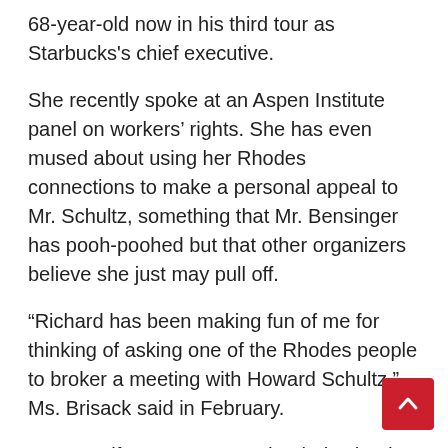68-year-old now in his third tour as Starbucks's chief executive.
She recently spoke at an Aspen Institute panel on workers' rights. She has even mused about using her Rhodes connections to make a personal appeal to Mr. Schultz, something that Mr. Bensinger has pooh-poohed but that other organizers believe she just may pull off.
“Richard has been making fun of me for thinking of asking one of the Rhodes people to broker a meeting with Howard Schultz,” Ms. Brisack said in February.
“I’m sure if you met Howard Schultz, he’d be like, ‘She’s so nice,” responded Ms. Moore, her co-worker. “He’d be like, ‘I get it. I would want